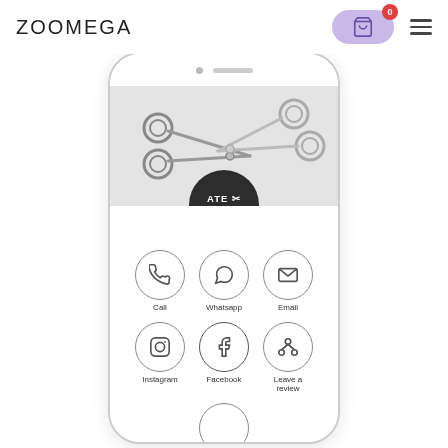ZOOMEGA
[Figure (screenshot): Mobile phone mockup showing Ate Salon digital business card with scissors image, ATE SALON logo, and contact buttons: Call, Whatsapp, Email, Instagram, Facebook, Leave a review]